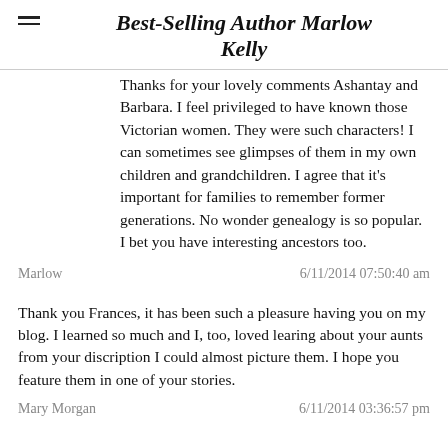Best-Selling Author Marlow Kelly
Thanks for your lovely comments Ashantay and Barbara. I feel privileged to have known those Victorian women. They were such characters! I can sometimes see glimpses of them in my own children and grandchildren. I agree that it's important for families to remember former generations. No wonder genealogy is so popular. I bet you have interesting ancestors too.
Marlow   6/11/2014 07:50:40 am
Thank you Frances, it has been such a pleasure having you on my blog. I learned so much and I, too, loved learing about your aunts from your discription I could almost picture them. I hope you feature them in one of your stories.
Mary Morgan   6/11/2014 03:36:57 pm